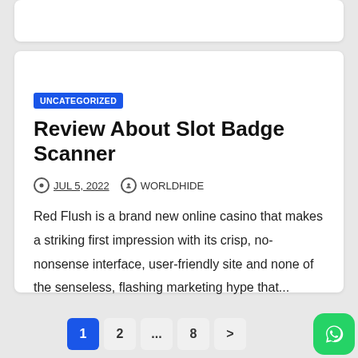UNCATEGORIZED
Review About Slot Badge Scanner
JUL 5, 2022   WORLDHIDE
Red Flush is a brand new online casino that makes a striking first impression with its crisp, no-nonsense interface, user-friendly site and none of the senseless, flashing marketing hype that...
1  2  ...  8  >